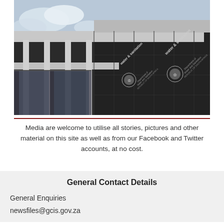[Figure (photo): Exterior photograph of a modern dark glass government building with 'water & sanitation' branding and South African coat of arms logos on the facade. Grey and white concrete structural elements contrast with the dark glass panels.]
Media are welcome to utilise all stories, pictures and other material on this site as well as from our Facebook and Twitter accounts, at no cost.
General Contact Details
General Enquiries
newsfiles@gcis.gov.za